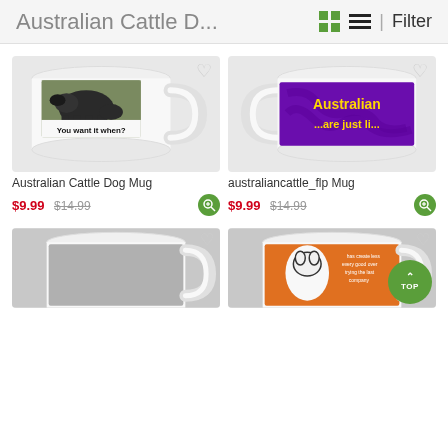Australian Cattle D...
[Figure (photo): White coffee mug with photo of Australian Cattle Dog and text 'You want it when?']
Australian Cattle Dog Mug
$9.99  $14.99
[Figure (photo): White coffee mug with purple background and yellow text 'Australian ...are just li...']
australiancattle_flp Mug
$9.99  $14.99
[Figure (photo): Partial view of white coffee mug on gray background]
[Figure (photo): Partial view of white coffee mug with orange background and cartoon dog illustration]